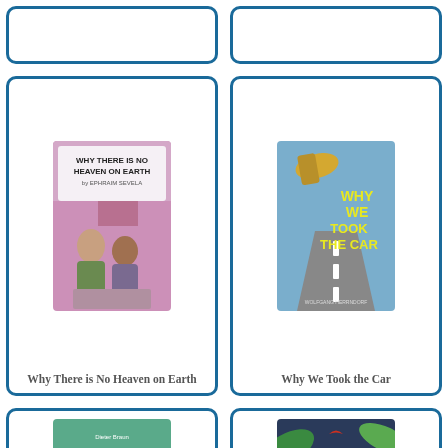[Figure (illustration): Partial top-left book card, cut off at top]
[Figure (illustration): Partial top-right book card, cut off at top]
[Figure (illustration): Book cover: Why There is No Heaven on Earth by Ephraim Sevela — two children in profile, pink/purple tones]
Why There is No Heaven on Earth
[Figure (illustration): Book cover: Why We Took the Car by Wolfgang Herrndorf — shoe/foot hanging from car, highway road]
Why We Took the Car
[Figure (illustration): Book cover: Wild Animals of the South by Dieter Braun — tiger with orange/black stripes on teal background]
[Figure (illustration): Book cover: The Wild Book — two children on dark blue background with tropical leaves]